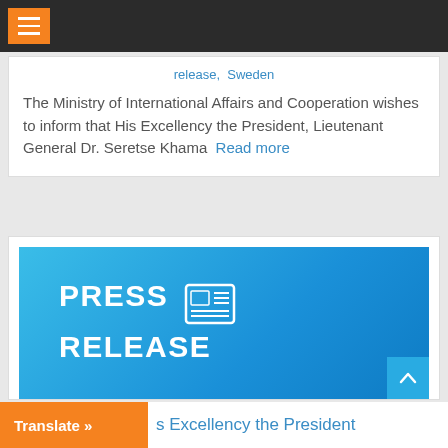Navigation bar with hamburger menu
release,  Sweden
The Ministry of International Affairs and Cooperation wishes to inform that His Excellency the President, Lieutenant General Dr. Seretse Khama  Read more
[Figure (illustration): Blue gradient banner with large white bold text reading PRESS RELEASE with a news/newspaper icon to the right of PRESS]
s Excellency the President
Translate »  s Excellency the President